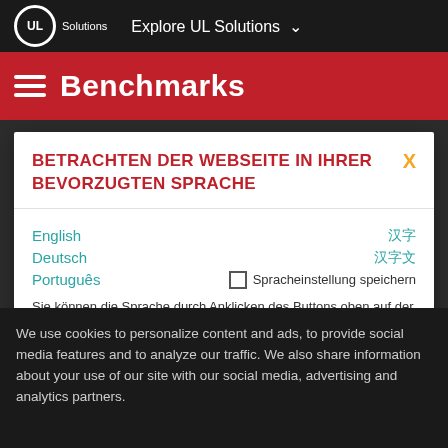UL Solutions — Explore UL Solutions
Benchmarks
BETRACHTEN DER WEBSEITE IN IHRER BEVORZUGTEN SPRACHE
English
Deutsch
Português
Spracheinstellung speichern
Sie können die Sprache durch Anklicken des Buttons oben auf der Seite ändern.
We use cookies to personalize content and ads, to provide social media features and to analyze our traffic. We also share information about your use of our site with our social media, advertising and analytics partners.